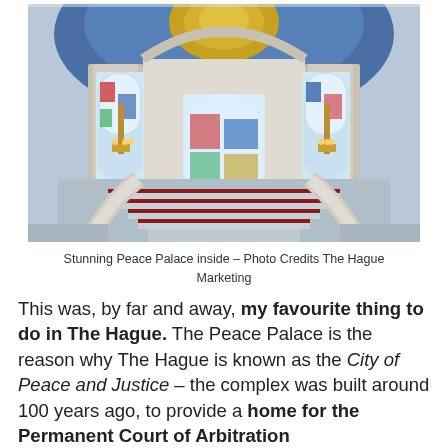[Figure (photo): Interior of the Peace Palace in The Hague, showing ornate mosaic ceiling with blue and gold dome, grand staircase with red carpet steps, stained glass arched windows, and golden chandeliers]
Stunning Peace Palace inside – Photo Credits The Hague Marketing
This was, by far and away, my favourite thing to do in The Hague. The Peace Palace is the reason why The Hague is known as the City of Peace and Justice – the complex was built around 100 years ago, to provide a home for the Permanent Court of Arbitration